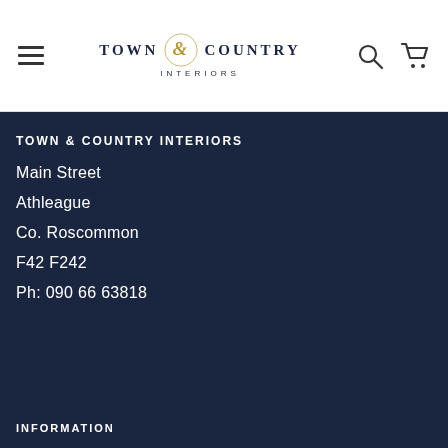[Figure (logo): Town & Country Interiors logo with ampersand emblem and subtitle INTERIORS]
TOWN & COUNTRY INTERIORS
Main Street
Athleague
Co. Roscommon
F42 F242
Ph: 090 66 63818
INFORMATION